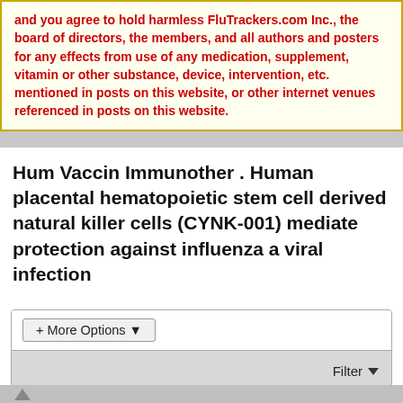and you agree to hold harmless FluTrackers.com Inc., the board of directors, the members, and all authors and posters for any effects from use of any medication, supplement, vitamin or other substance, device, intervention, etc. mentioned in posts on this website, or other internet venues referenced in posts on this website.
Hum Vaccin Immunother . Human placental hematopoietic stem cell derived natural killer cells (CYNK-001) mediate protection against influenza a viral infection
+ More Options
Filter
tetano
Editor, Senior Moderator
Join Date: Dec 2009  Posts: 87896